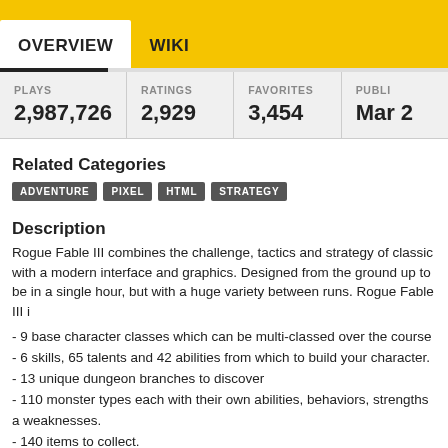OVERVIEW   WIKI
| PLAYS | RATINGS | FAVORITES | PUBLI... |
| --- | --- | --- | --- |
| 2,987,726 | 2,929 | 3,454 | Mar ... |
Related Categories
ADVENTURE  PIXEL  HTML  STRATEGY
Description
Rogue Fable III combines the challenge, tactics and strategy of classic with a modern interface and graphics. Designed from the ground up to be in a single hour, but with a huge variety between runs. Rogue Fable III i
- 9 base character classes which can be multi-classed over the course
- 6 skills, 65 talents and 42 abilities from which to build your character.
- 13 unique dungeon branches to discover
- 110 monster types each with their own abilities, behaviors, strengths and weaknesses.
- 140 items to collect.
Rogue Fable III is now in active, continuous development on Steam Ea and will be receiving updates, improvements, and new content there. Th version is, nonetheless, a completed game in itself and will continue to